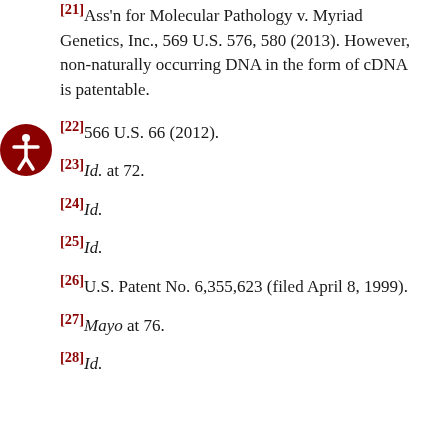[21] Ass'n for Molecular Pathology v. Myriad Genetics, Inc., 569 U.S. 576, 580 (2013). However, non-naturally occurring DNA in the form of cDNA is patentable.
[22] 566 U.S. 66 (2012).
[23] Id. at 72.
[24] Id.
[25] Id.
[26] U.S. Patent No. 6,355,623 (filed April 8, 1999).
[27] Mayo at 76.
[28] Id.